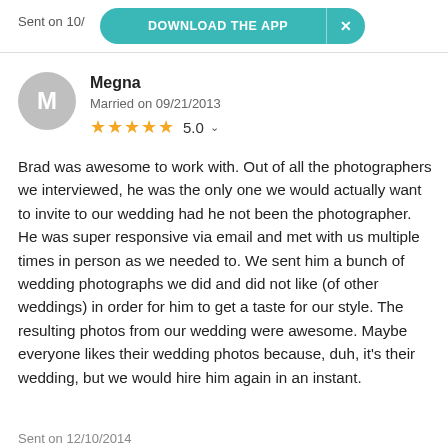Sent on 10/
[Figure (other): Teal pill-shaped banner saying DOWNLOAD THE APP with an X close button]
[Figure (other): Gray circular avatar with letter M]
Megna
Married on 09/21/2013
★★★★★ 5.0
Brad was awesome to work with. Out of all the photographers we interviewed, he was the only one we would actually want to invite to our wedding had he not been the photographer. He was super responsive via email and met with us multiple times in person as we needed to. We sent him a bunch of wedding photographs we did and did not like (of other weddings) in order for him to get a taste for our style. The resulting photos from our wedding were awesome. Maybe everyone likes their wedding photos because, duh, it's their wedding, but we would hire him again in an instant.
Sent on 12/10/2014